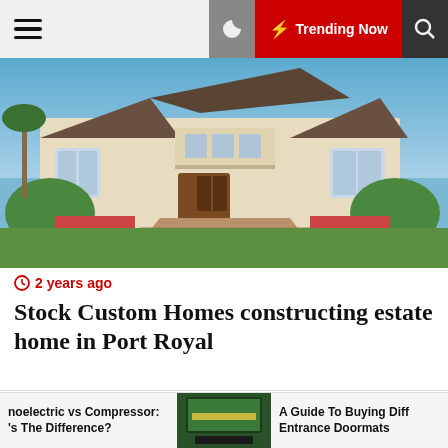Trending Now
[Figure (photo): Exterior photo of a large luxury two-story estate home with cream stucco finish, dark tile roof, wooden double entry doors, manicured landscaping with tropical plants, and a herringbone brick driveway]
2 years ago
Stock Custom Homes constructing estate home in Port Royal
[Figure (photo): Interior/exterior collage showing an outdoor kitchen area with a large stainless steel range hood, wooded background, and modern white kitchen cabinetry]
noelectric vs Compressor: 's The Difference?  |  A Guide To Buying Diff Entrance Doormats